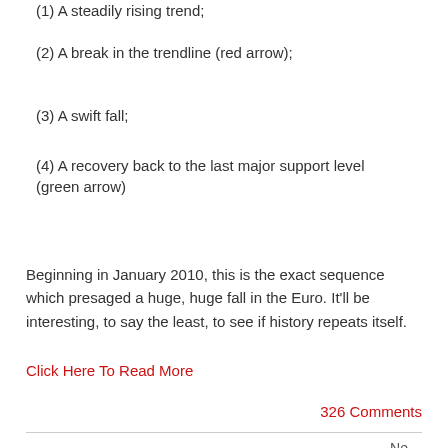(1) A steadily rising trend;
(2) A break in the trendline (red arrow);
(3) A swift fall;
(4) A recovery back to the last major support level (green arrow)
Beginning in January 2010, this is the exact sequence which presaged a huge, huge fall in the Euro. It'll be interesting, to say the least, to see if history repeats itself.
Click Here To Read More
326 Comments